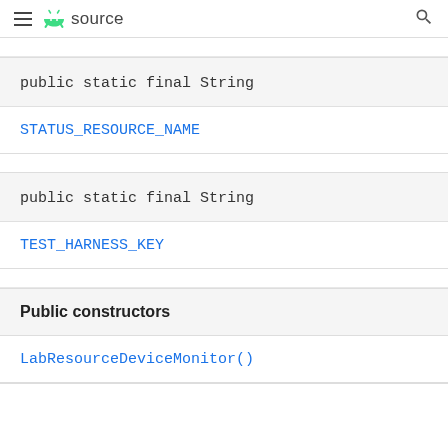≡ Android source 🔍
public static final String
STATUS_RESOURCE_NAME
public static final String
TEST_HARNESS_KEY
Public constructors
LabResourceDeviceMonitor()